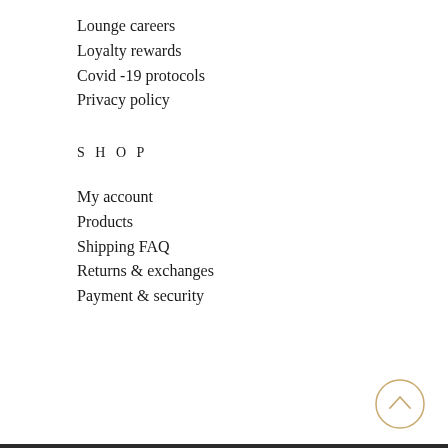Lounge careers
Loyalty rewards
Covid -19 protocols
Privacy policy
S H O P
My account
Products
Shipping FAQ
Returns & exchanges
Payment & security